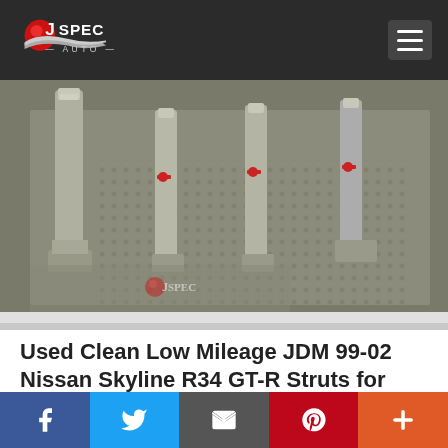J-Spec Auto — navigation header with logo and hamburger menu
[Figure (photo): Photo of four used Nissan Skyline R34 GT-R suspension struts laid out on a textured grey surface. The struts are metallic silver with red markings. A J-Spec Auto watermark is visible at the bottom of the image.]
Used Clean Low Mileage JDM 99-02 Nissan Skyline R34 GT-R Struts for sale.
Up for sale is a very clean set of stock suspension for your